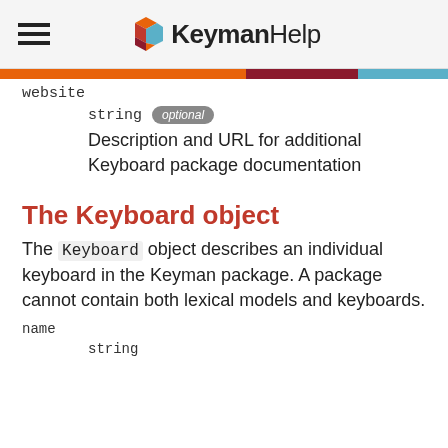KeymanHelp
website
string optional
Description and URL for additional Keyboard package documentation
The Keyboard object
The Keyboard object describes an individual keyboard in the Keyman package. A package cannot contain both lexical models and keyboards.
name
string